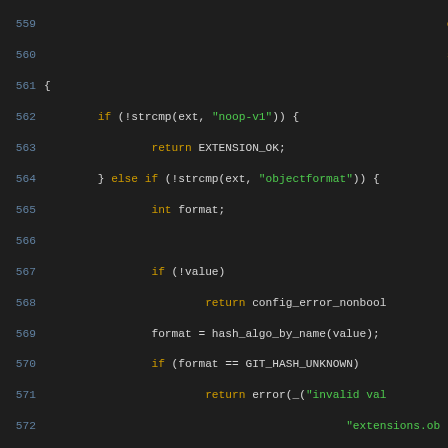[Figure (screenshot): Source code listing lines 559–588 of a C file showing functions handling repository format extensions, with syntax highlighting. Line numbers in blue-grey, keywords in orange/yellow, string literals in green, function names in teal, plain code in light grey, on a dark background.]